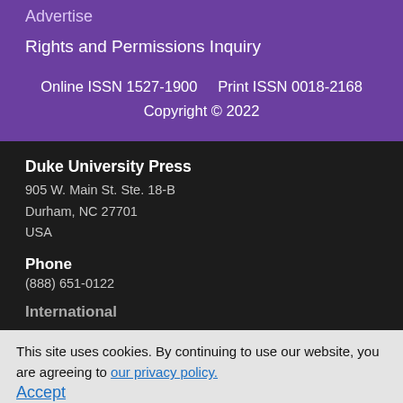Advertise
Rights and Permissions Inquiry
Online ISSN 1527-1900    Print ISSN 0018-2168
Copyright © 2022
Duke University Press
905 W. Main St. Ste. 18-B
Durham, NC 27701
USA
Phone
(888) 651-0122
International
This site uses cookies. By continuing to use our website, you are agreeing to our privacy policy.
Accept
Contact
Contact Us